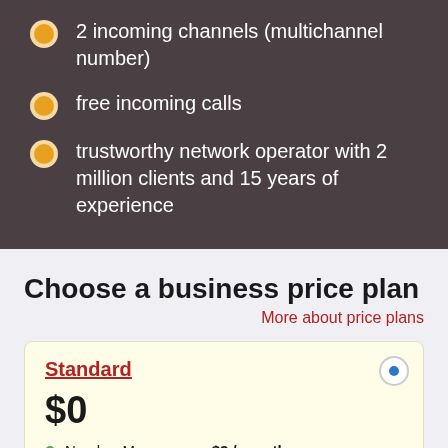2 incoming channels (multichannel number)
free incoming calls
trustworthy network operator with 2 million clients and 15 years of experience
Choose a business price plan
More about price plans
Standard
$0
Number Maramures - $2 / month